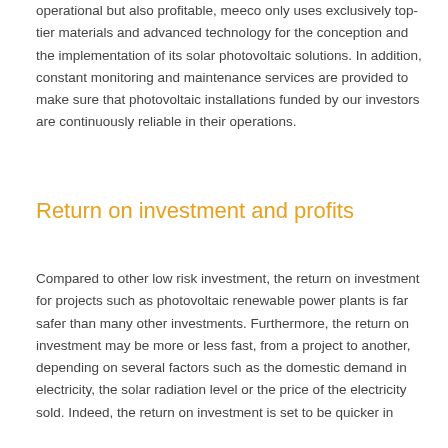operational but also profitable, meeco only uses exclusively top-tier materials and advanced technology for the conception and the implementation of its solar photovoltaic solutions. In addition, constant monitoring and maintenance services are provided to make sure that photovoltaic installations funded by our investors are continuously reliable in their operations.
Return on investment and profits
Compared to other low risk investment, the return on investment for projects such as photovoltaic renewable power plants is far safer than many other investments. Furthermore, the return on investment may be more or less fast, from a project to another, depending on several factors such as the domestic demand in electricity, the solar radiation level or the price of the electricity sold. Indeed, the return on investment is set to be quicker in